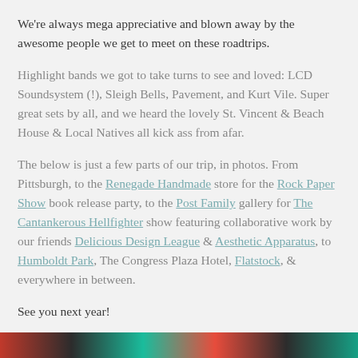We're always mega appreciative and blown away by the awesome people we get to meet on these roadtrips.
Highlight bands we got to take turns to see and loved: LCD Soundsystem (!), Sleigh Bells, Pavement, and Kurt Vile. Super great sets by all, and we heard the lovely St. Vincent & Beach House & Local Natives all kick ass from afar.
The below is just a few parts of our trip, in photos. From Pittsburgh, to the Renegade Handmade store for the Rock Paper Show book release party, to the Post Family gallery for The Cantankerous Hellfighter show featuring collaborative work by our friends Delicious Design League & Aesthetic Apparatus, to Humboldt Park, The Congress Plaza Hotel, Flatstock, & everywhere in between.
See you next year!
[Figure (photo): Colorful image strip at the bottom of the page]